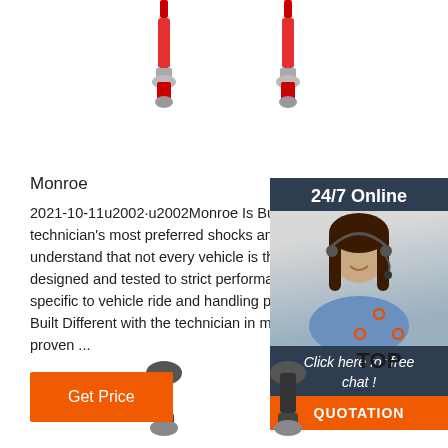[Figure (photo): Two red shock absorber/strut parts shown at top center]
Monroe
2021-10-11u2002·u2002Monroe Is Built Different. M... technician's most preferred shocks and struts brand... understand that not every vehicle is the same. With designed and tested to strict performance and dura... specific to vehicle ride and handling profiles, Monro... Built Different with the technician in mind for easy i... proven ...
[Figure (photo): Customer service agent photo with 24/7 Online chat widget overlay, includes Click here for free chat! text and QUOTATION button]
[Figure (other): Get Price orange button]
[Figure (logo): TOP logo with orange dots arranged in triangle above TOP text]
[Figure (photo): Two black shock absorber/strut parts shown at bottom center]